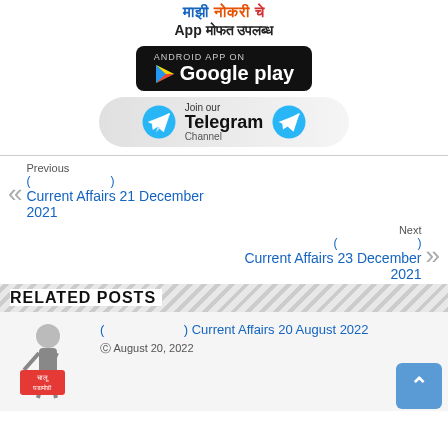[Figure (logo): Marathi text logo and App text header]
[Figure (logo): Google Play Store download button]
[Figure (logo): Join our Telegram Channel button with telegram icons]
Previous
(                       )
Current Affairs 21 December 2021
Next
(                       )
Current Affairs 23 December 2021
RELATED POSTS
[Figure (illustration): Cartoon figure holding a sign with Marathi text]
(                       ) Current Affairs 20 August 2022
August 20, 2022